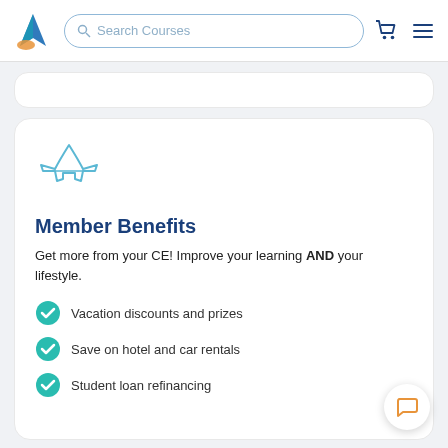Search Courses
[Figure (illustration): Airplane icon in light blue outline style]
Member Benefits
Get more from your CE! Improve your learning AND your lifestyle.
Vacation discounts and prizes
Save on hotel and car rentals
Student loan refinancing